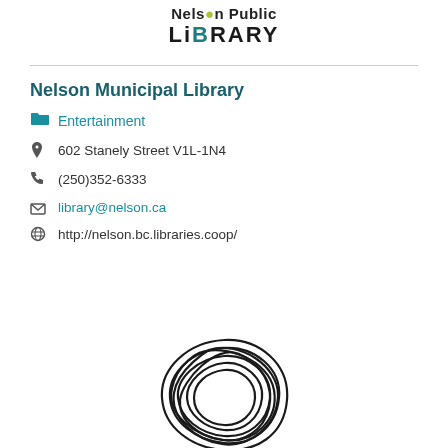[Figure (logo): Nelson Public Library logo with stylized text and green dot accent]
Nelson Municipal Library
Entertainment
602 Stanely Street V1L-1N4
(250)352-6333
library@nelson.ca
http://nelson.bc.libraries.coop/
[Figure (illustration): Abstract circular scribble/knot illustration in black lines at the bottom center of the page]